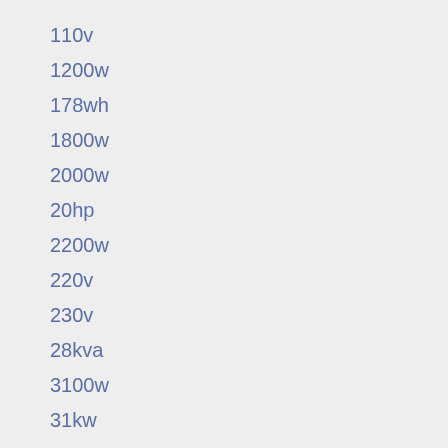110v
1200w
178wh
1800w
2000w
20hp
2200w
220v
230v
28kva
3100w
31kw
3200w
32kv
3kva
4000w
4kva
5000w